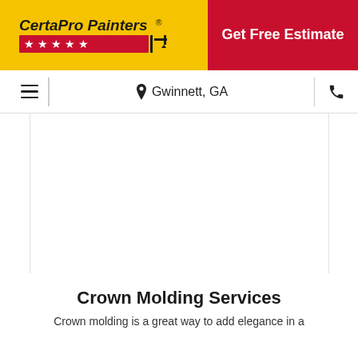[Figure (logo): CertaPro Painters logo on yellow background with red stars and painter icon]
Get Free Estimate
Gwinnett, GA
[Figure (photo): Large image placeholder area (white/blank content)]
Crown Molding Services
Crown molding is a great way to add elegance in a